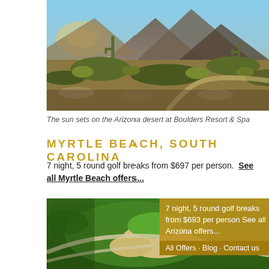[Figure (photo): Sunset view over the Arizona desert landscape at Boulders Resort & Spa, with cacti, shrubs, and mountains in the background under a golden sky.]
The sun sets on the Arizona desert at Boulders Resort & Spa
MYRTLE BEACH, SOUTH CAROLINA
7 night, 5 round golf breaks from $697 per person.  See all Myrtle Beach offers...
[Figure (photo): Aerial view of a golf course green with sand bunkers and winding cart paths surrounded by lush fairway grass.]
7 night, 5 round golf breaks from $693 per person See all Arizona offers...
All Offers · Blog · Contact us